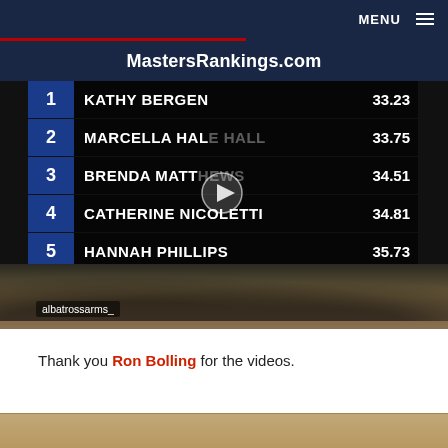MENU
MastersRankings.com
[Figure (screenshot): Video screenshot of a scoreboard showing women's race results: 1 KATHY BERGEN 33.23, 2 MARCELLA HALE 33.75, 3 BRENDA MATTHEWS 34.51, 4 CATHERINE NICOLETTI 34.81, 5 HANNAH PHILLIPS 35.73, 6 ROSE GREEN 39.64. A play button triangle is visible. Below the scoreboard is a crowd/track photo. Bottom-left shows 'albatrossarms_' label.]
Thank you Ron Bolling for the videos.